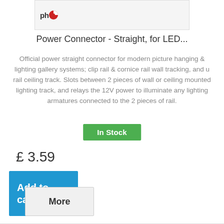[Figure (photo): Partial product image with 'ph' logo/brand icon visible, on a light gray background]
Power Connector - Straight, for LED...
Official power straight connector for modern picture hanging & lighting gallery systems; clip rail & cornice rail wall tracking, and u rail ceiling track. Slots between 2 pieces of wall or ceiling mounted lighting track, and relays the 12V power to illuminate any lighting armatures connected to the 2 pieces of rail.
In Stock
£ 3.59
Add to cart
More